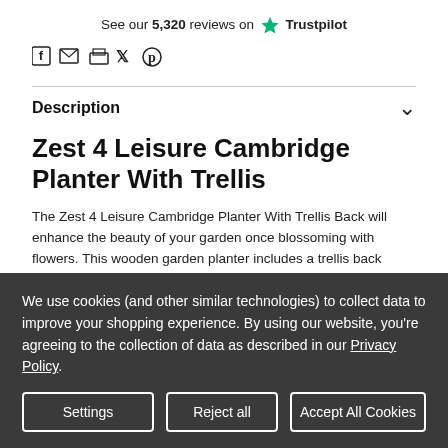See our 5,320 reviews on Trustpilot
[Figure (infographic): Social share icons: Facebook, Email, Print, Twitter, Pinterest]
Description
Zest 4 Leisure Cambridge Planter With Trellis
The Zest 4 Leisure Cambridge Planter With Trellis Back will enhance the beauty of your garden once blossoming with flowers. This wooden garden planter includes a trellis back which allows you to easily grow climbing plants for a truly spectacular planting
We use cookies (and other similar technologies) to collect data to improve your shopping experience. By using our website, you're agreeing to the collection of data as described in our Privacy Policy.